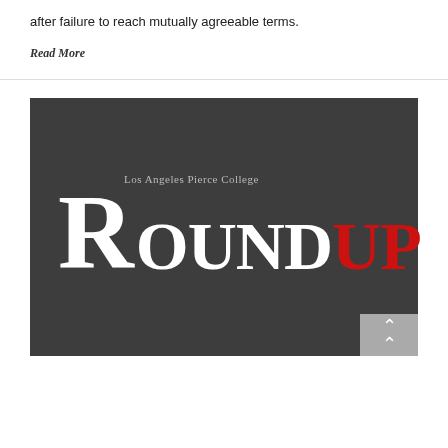after failure to reach mutually agreeable terms.
Read More
[Figure (logo): Los Angeles Pierce College Roundup logo on dark gray background. Large white serif 'R' followed by 'OUND' in white and 'UP' in red, forming 'ROUNDUP'. Above the large letters: 'Los Angeles Pierce College' in gray sans-serif text.]